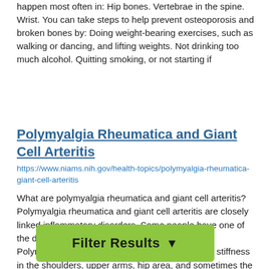happen most often in: Hip bones. Vertebrae in the spine. Wrist. You can take steps to help prevent osteoporosis and broken bones by: Doing weight-bearing exercises, such as walking or dancing, and lifting weights. Not drinking too much alcohol. Quitting smoking, or not starting if
Polymyalgia Rheumatica and Giant Cell Arteritis
https://www.niams.nih.gov/health-topics/polymyalgia-rheumatica-giant-cell-arteritis
What are polymyalgia rheumatica and giant cell arteritis? Polymyalgia rheumatica and giant cell arteritis are closely linked inflammatory disorders. Some people have one of the disorders while others develop both of them. Polymyalgia rheumatica causes muscle pain and stiffness in the shoulders, upper arms, hip area, and sometimes the neck. Giant cell arteritis causes inflammation of arteries, especially those on each side of the head, scalp, and the aorta (the large artery that carries blood from the heart) and its main branches. The main symptoms of this disorder are: Headaches. Scalp tenderness. Jaw pain. Problems with your eyes, which may
[Figure (other): Green 'Filter Results' button with funnel icon]